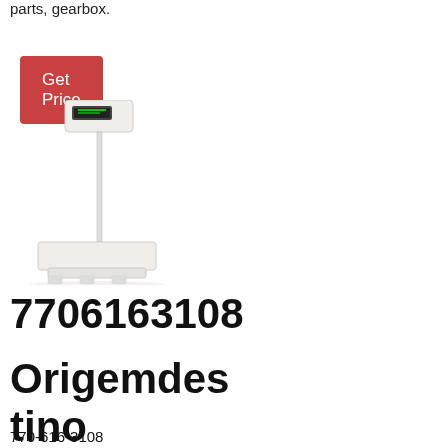parts, gearbox.
Get Price
[Figure (photo): A white platform floor scale with a tall pole and a digital display unit at the top, on a white background.]
7706163108
Origemdes tino
770-616-3108